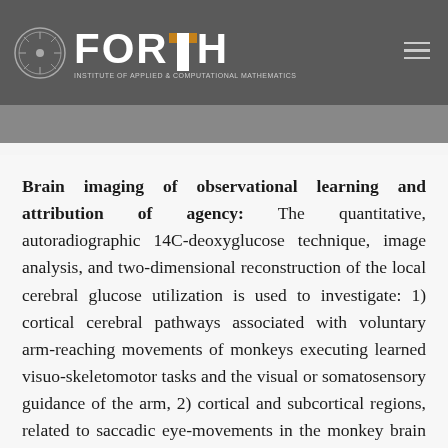FORTH — INSTITUTE OF APPLIED & COMPUTATIONAL MATHEMATICS
Brain imaging of observational learning and attribution of agency: The quantitative, autoradiographic 14C-deoxyglucose technique, image analysis, and two-dimensional reconstruction of the local cerebral glucose utilization is used to investigate: 1) cortical cerebral pathways associated with voluntary arm-reaching movements of monkeys executing learned visuo-skeletomotor tasks and the visual or somatosensory guidance of the arm, 2) cortical and subcortical regions, related to saccadic eye-movements in the monkey brain and how they encode parameters of saccades (direction, amplitude, eye-position and trajectory), 3) cortical areas involved